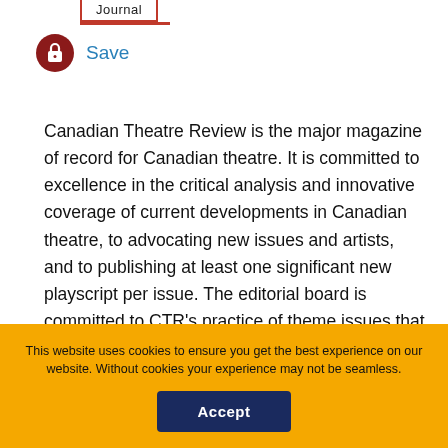Journal
[Figure (other): Lock icon (padlock) in dark red circle, with 'Save' text link in blue beside it]
Canadian Theatre Review is the major magazine of record for Canadian theatre. It is committed to excellence in the critical analysis and innovative coverage of current developments in Canadian theatre, to advocating new issues and artists, and to publishing at least one significant new playscript per issue. The editorial board is committed to CTR's practice of theme issues that present multi-faceted and in-depth
This website uses cookies to ensure you get the best experience on our website. Without cookies your experience may not be seamless.
Accept